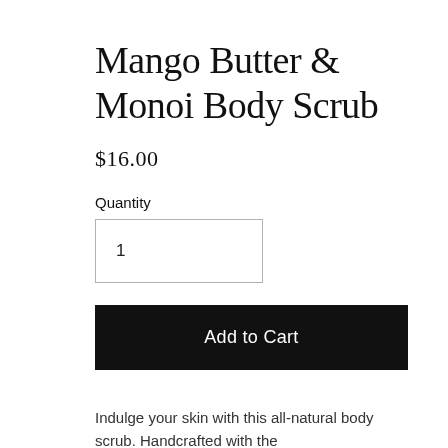Mango Butter & Monoi Body Scrub
$16.00
Quantity
1
Add to Cart
Indulge your skin with this all-natural body scrub. Handcrafted with the